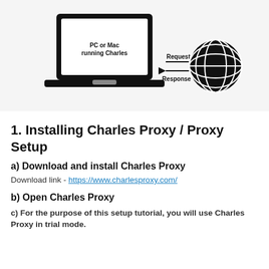[Figure (schematic): Diagram showing a laptop labeled 'PC or Mac running Charles' with arrows labeled 'Request' and 'Response' pointing to and from a globe icon representing the internet.]
1. Installing Charles Proxy / Proxy Setup
a) Download and install Charles Proxy
Download link - https://www.charlesproxy.com/
b) Open Charles Proxy
c) For the purpose of this setup tutorial, you will use Charles Proxy in trial mode.